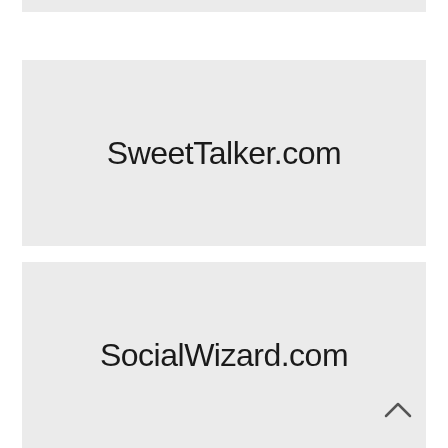[Figure (other): Gray card strip at top of page, partially visible]
SweetTalker.com
SocialWizard.com
[Figure (other): Upward-pointing chevron/arrow scroll indicator]
[Figure (other): Gray card strip at bottom of page, partially visible]